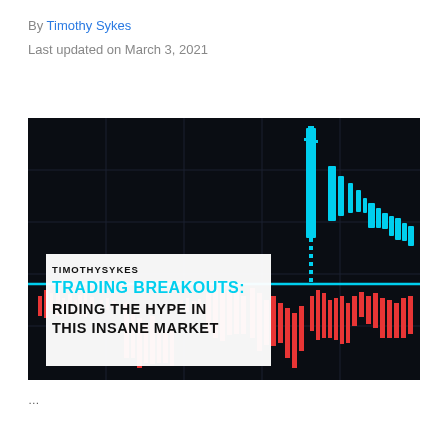By Timothy Sykes
Last updated on March 3, 2021
[Figure (illustration): Dark background stock chart thumbnail with cyan candlestick chart spike on the right side and red candlestick bars along the bottom. Text overlay reads 'TIMOTHYSYKES' and 'TRADING BREAKOUTS: RIDING THE HYPE IN THIS INSANE MARKET'. A horizontal cyan line runs across the lower portion of the image.]
...